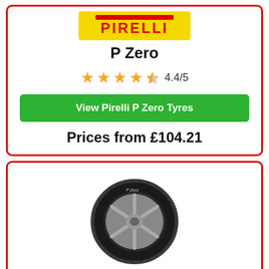[Figure (logo): Pirelli logo - yellow background with red PIRELLI text]
P Zero
4.4/5 star rating
View Pirelli P Zero Tyres
Prices from £104.21
[Figure (photo): Pirelli P Zero tyre product photo showing a low-profile tyre with alloy wheel]